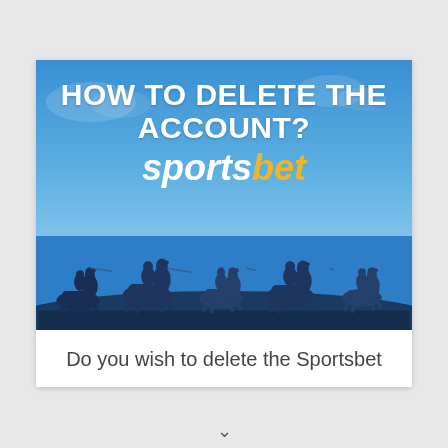[Figure (illustration): Promotional illustration for Sportsbet showing the text 'HOW TO DELETE THE ACCOUNT?' in white bold uppercase letters, the Sportsbet logo in white italic ('sports') and gold italic ('bet'), over a blue sky background with silhouettes of horse racing jockeys at the bottom.]
Do you wish to delete the Sportsbet